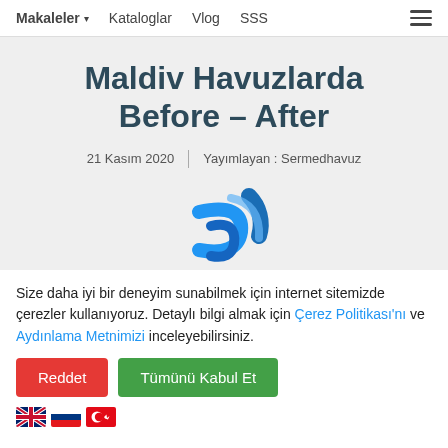Makaleler ▾   Kataloglar   Vlog   SSS
Maldiv Havuzlarda Before – After
21 Kasım 2020  |  Yayımlayan : Sermedhavuz
[Figure (logo): Blue stylized S letter logo for Sermedhavuz pool company]
Size daha iyi bir deneyim sunabilmek için internet sitemizde çerezler kullanıyoruz. Detaylı bilgi almak için Çerez Politikası'nı ve Aydınlama Metnimizi inceleyebilirsiniz.
Reddet   Tümünü Kabul Et
🇬🇧 🇷🇺 🇹🇷